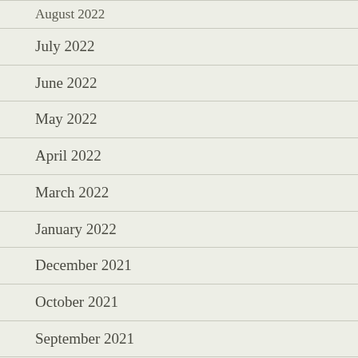August 2022
July 2022
June 2022
May 2022
April 2022
March 2022
January 2022
December 2021
October 2021
September 2021
August 2021
July 2021
June 2021